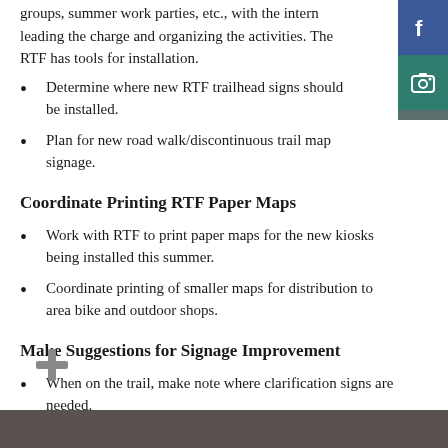groups, summer work parties, etc., with the intern leading the charge and organizing the activities. The RTF has tools for installation.
Determine where new RTF trailhead signs should be installed.
Plan for new road walk/discontinuous trail map signage.
Coordinate Printing RTF Paper Maps
Work with RTF to print paper maps for the new kiosks being installed this summer.
Coordinate printing of smaller maps for distribution to area bike and outdoor shops.
Make Suggestions for Signage Improvement
When on the trail, make note where clarification signs are needed.
[Figure (other): Social media sidebar icons: Facebook (blue) and camera/Instagram (teal green)]
[Figure (other): Plus (+) icon in gray]